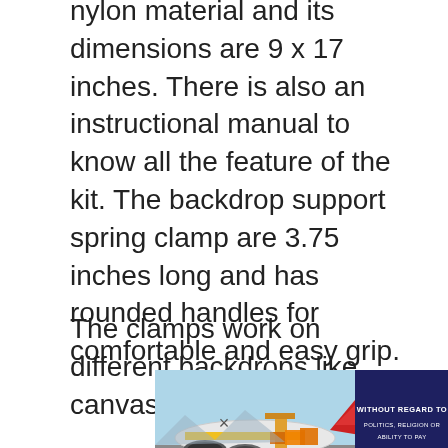nylon material and its dimensions are 9 x 17 inches. There is also an instructional manual to know all the feature of the kit. The backdrop support spring clamp are 3.75 inches long and has rounded handles for comfortable and easy grip.
The clamps work on different backdrops like canvas, muslin, paper,
[Figure (photo): Advertisement banner showing a cargo airplane being loaded with freight on the tarmac, with a dark blue panel on the right reading 'WITHOUT REGARD TO POLITICS, RELIGION OR ABILITY TO PAY' in white text.]
x